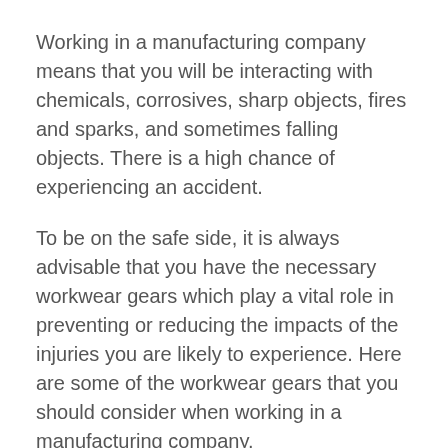Working in a manufacturing company means that you will be interacting with chemicals, corrosives, sharp objects, fires and sparks, and sometimes falling objects. There is a high chance of experiencing an accident.
To be on the safe side, it is always advisable that you have the necessary workwear gears which play a vital role in preventing or reducing the impacts of the injuries you are likely to experience. Here are some of the workwear gears that you should consider when working in a manufacturing company.
1. Gas Masks
Gas masks are essential workwear gears that